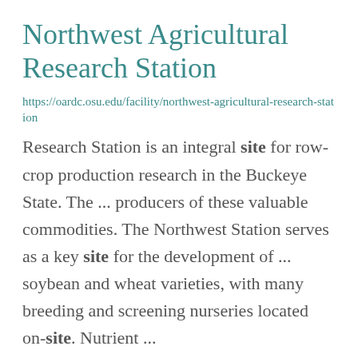Northwest Agricultural Research Station
https://oardc.osu.edu/facility/northwest-agricultural-research-station
Research Station is an integral site for row-crop production research in the Buckeye State. The ... producers of these valuable commodities. The Northwest Station serves as a key site for the development of ... soybean and wheat varieties, with many breeding and screening nurseries located on-site. Nutrient ...
Pomerone Forest Laboratory